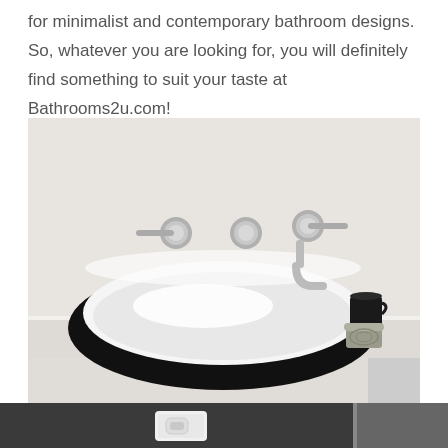for minimalist and contemporary bathroom designs. So, whatever you are looking for, you will definitely find something to suit your taste at Bathrooms2u.com!
[Figure (photo): A modern black and white oval vessel sink on a white countertop with chrome wall-mounted faucet and two decorative containers (a black mug and a silver lidded jar) on the right side.]
[Figure (photo): Partial view of a dark grey bathroom wall with a white rectangular wall-mounted toilet flush plate/button panel. A vertical glass partition is visible on the right.]